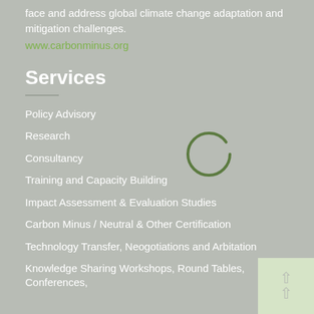face and address global climate change adaptation and mitigation challenges.
www.carbonminus.org
Services
Policy Advisory
Research
Consultancy
Training and Capacity Building
Impact Assessment & Evaluation Studies
Carbon Minus / Neutral & Other Certification
Technology Transfer, Neogotiations and Arbitation
Knowledge Sharing Workshops, Round Tables, Conferences,
[Figure (other): Circular loading spinner — green circle with a small gap at the top-right, on grey background]